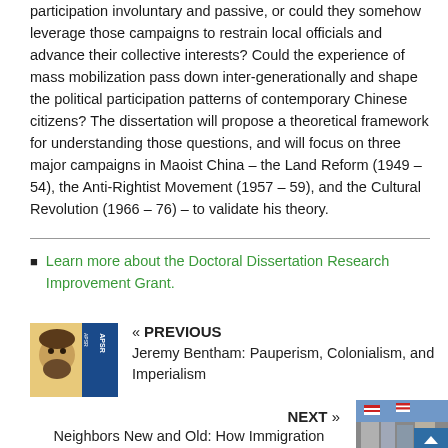participation involuntary and passive, or could they somehow leverage those campaigns to restrain local officials and advance their collective interests? Could the experience of mass mobilization pass down inter-generationally and shape the political participation patterns of contemporary Chinese citizens? The dissertation will propose a theoretical framework for understanding those questions, and will focus on three major campaigns in Maoist China – the Land Reform (1949 – 54), the Anti-Rightist Movement (1957 – 59), and the Cultural Revolution (1966 – 76) – to validate his theory.
Learn more about the Doctoral Dissertation Research Improvement Grant.
[Figure (photo): Thumbnail image of APSR journal cover with illustrated face]
« PREVIOUS
Jeremy Bentham: Pauperism, Colonialism, and Imperialism
NEXT »
Neighbors New and Old: How Immigration Affects Broader Race Relations in the United States
[Figure (photo): Thumbnail image of buildings with flags for the next article]